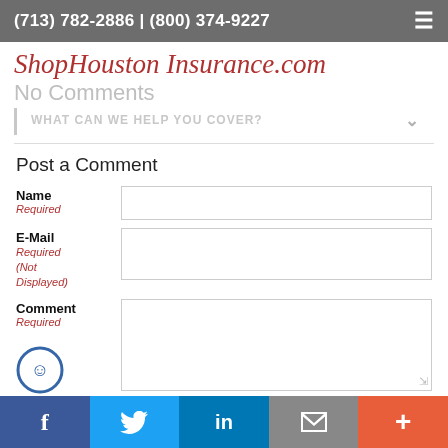(713) 782-2886 | (800) 374-9227
[Figure (logo): ShopHoustonInsurance.com script logo in red cursive text]
No Comments
WHAT CAN WE HELP YOU COVER?
Post a Comment
Name
Required
E-Mail
Required (Not Displayed)
Comment
Required
Facebook | Twitter | LinkedIn | Email | More